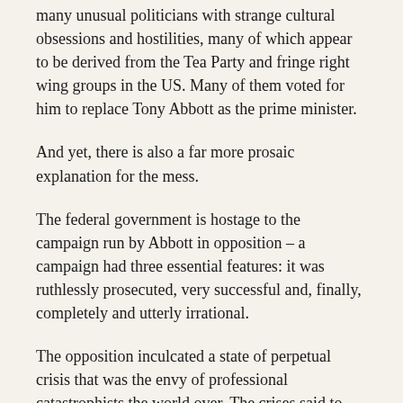many unusual politicians with strange cultural obsessions and hostilities, many of which appear to be derived from the Tea Party and fringe right wing groups in the US. Many of them voted for him to replace Tony Abbott as the prime minister.
And yet, there is also a far more prosaic explanation for the mess.
The federal government is hostage to the campaign run by Abbott in opposition – a campaign had three essential features: it was ruthlessly prosecuted, very successful and, finally, completely and utterly irrational.
The opposition inculcated a state of perpetual crisis that was the envy of professional catastrophists the world over. The crises said to beleaguer the nation under a Labor government formed an impressively long list: the cost of living crisis, the retail crisis, the productivity crisis, the debt crisis, the deficit disaster, emergency low interest rates, sovereign risk crisis